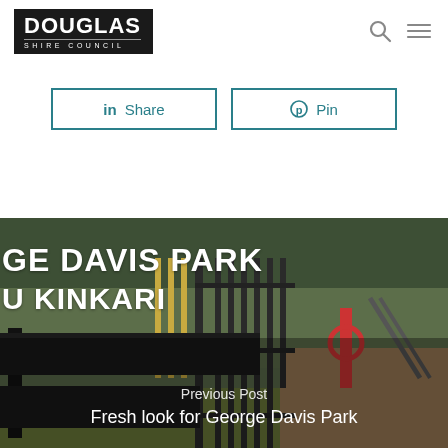Douglas Shire Council
in Share   Pin
[Figure (photo): Outdoor photo of George Davis Park showing a black metal fence with park signage reading 'GE DAVIS PARK' and 'U KINKARI', with playground equipment and green grass visible in the background. Text overlay reads 'Previous Post' and 'Fresh look for George Davis Park'.]